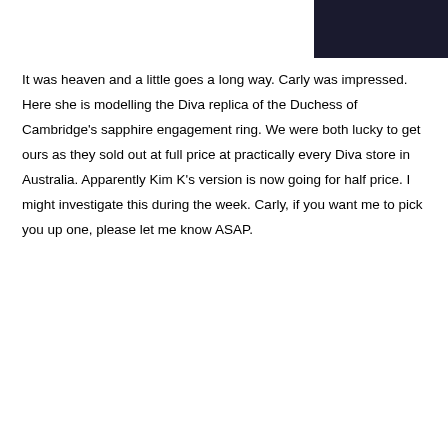[Figure (photo): Top portion of a dark food/restaurant photo with 'Sydney Shop Girl' watermark in pink italic text at bottom right]
It was heaven and a little goes a long way.  Carly was impressed.  Here she is modelling the Diva replica of the Duchess of Cambridge's sapphire engagement ring.  We were both lucky to get ours as they sold out at full price at practically every Diva store in Australia.  Apparently Kim K's version is now going for half price.  I might investigate this during the week.  Carly, if you want me to pick you up one, please let me know ASAP.
[Figure (photo): Dark restaurant dessert plate photo showing chocolate cake wedge, small chocolates, ramekin with cream, strawberry, glass of water and spoon on a white rectangular plate. 'Sydney Shop Girl' watermark appears twice in pink italic text.]